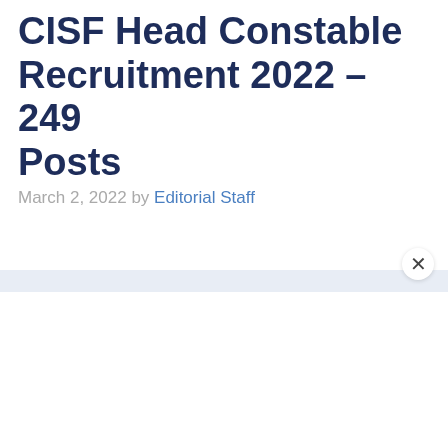CISF Head Constable Recruitment 2022 – 249 Posts
March 2, 2022 by Editorial Staff